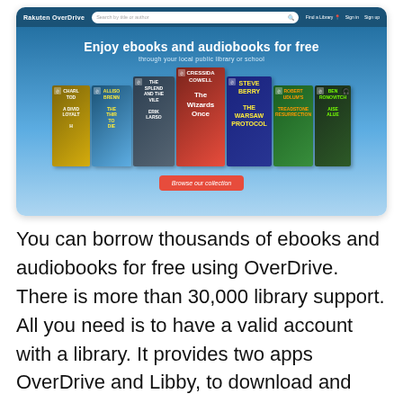[Figure (screenshot): Screenshot of Rakuten OverDrive website showing navigation bar with logo, search box, 'Find a Library', 'Sign In', 'Sign Up' links. Hero banner with teal/blue gradient background reads 'Enjoy ebooks and audiobooks for free' and 'through your local public library or school'. Book covers displayed including Allison Brennan 'The Third to Die', Erik Larson 'The Splendid and the Vile', Cressida Cowell 'The Wizards Once', Steve Berry 'The Warsaw Protocol', Robert Ludlum's 'The Treadstone Resurrection', Ben Aaronovitch 'Raise the Alue'. Orange 'Browse our collection' button at bottom.]
You can borrow thousands of ebooks and audiobooks for free using OverDrive. There is more than 30,000 library support. All you need is to have a valid account with a library. It provides two apps OverDrive and Libby, to download and listen